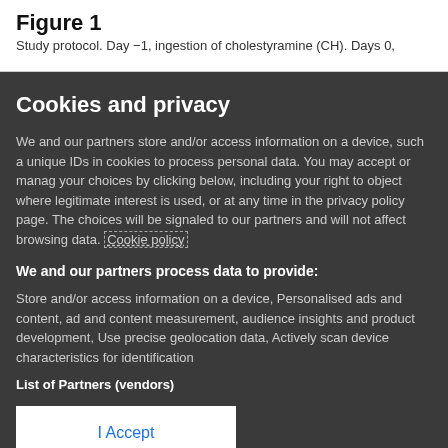Figure 1
Study protocol. Day −1, ingestion of cholestyramine (CH). Days 0,
Cookies and privacy
We and our partners store and/or access information on a device, such as unique IDs in cookies to process personal data. You may accept or manage your choices by clicking below, including your right to object where legitimate interest is used, or at any time in the privacy policy page. These choices will be signaled to our partners and will not affect browsing data. Cookie policy
We and our partners process data to provide:
Store and/or access information on a device, Personalised ads and content, ad and content measurement, audience insights and product development, Use precise geolocation data, Actively scan device characteristics for identification
List of Partners (vendors)
I Accept